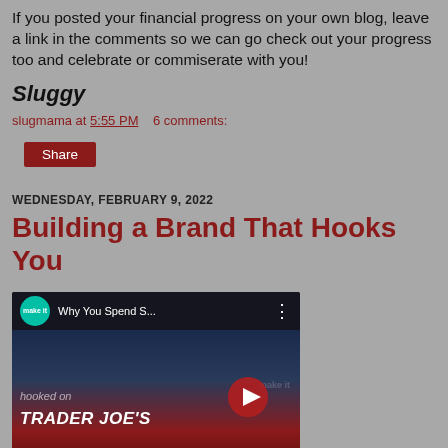If you posted your financial progress on your own blog, leave a link in the comments so we can go check out your progress too and celebrate or commiserate with you!
Sluggy
slugmama at 5:55 PM   6 comments:
Share
WEDNESDAY, FEBRUARY 9, 2022
Building a Brand That Hooks You
[Figure (screenshot): YouTube video thumbnail showing 'Why You Spend S...' from the 'make it' channel, with text 'hooked on TRADER JOE'S' and a red play button.]